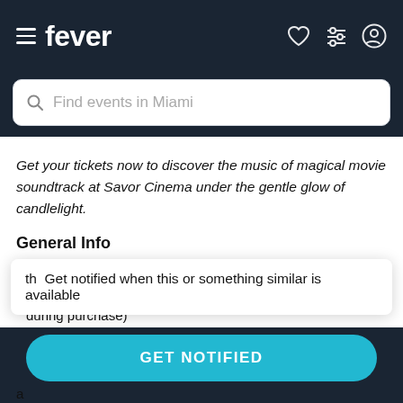fever
Find events in Miami
Get your tickets now to discover the music of magical movie soundtrack at Savor Cinema under the gentle glow of candlelight.
General Info
Venue: Savor Cinema
Dates and times: August 20 at 6:30 p.m. and 9 p.m. (select during purchase)
Duration: 65 minutes (doors open 60 mins prior to th
Get notified when this or something similar is available
Age requirement: 8 years old or older. Anyone